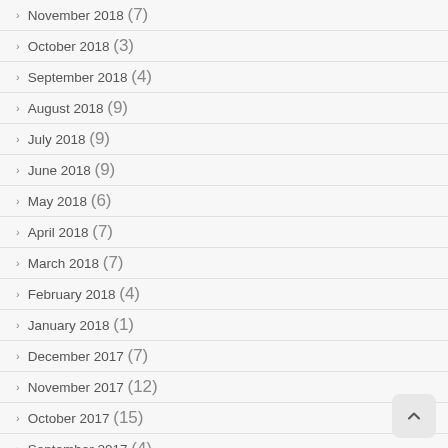November 2018 (7)
October 2018 (3)
September 2018 (4)
August 2018 (9)
July 2018 (9)
June 2018 (9)
May 2018 (6)
April 2018 (7)
March 2018 (7)
February 2018 (4)
January 2018 (1)
December 2017 (7)
November 2017 (12)
October 2017 (15)
September 2017 (4)
August 2017 (7)
July 2017 (8)